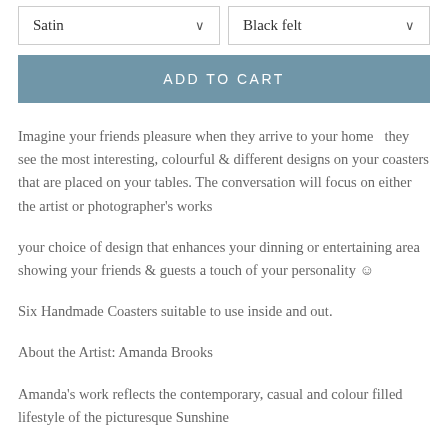[Figure (screenshot): Two dropdown selector boxes side by side: left shows 'Satin' with chevron, right shows 'Black felt' with chevron]
ADD TO CART
Imagine your friends pleasure when they arrive to your home &  they see the most interesting, colourful & different designs on your coasters that are placed on your tables. The conversation will focus on either the artist or photographer's works
your choice of design that enhances your dinning or entertaining area showing your friends & guests a touch of your personality ☺
Six Handmade Coasters suitable to use inside and out.
About the Artist: Amanda Brooks
Amanda's work reflects the contemporary, casual and colour filled lifestyle of the picturesque Sunshine